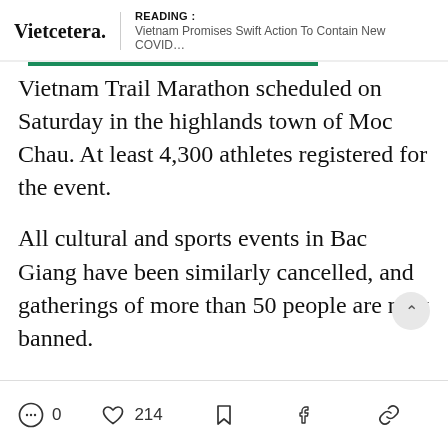READING : Vietnam Promises Swift Action To Contain New COVID…
Vietnam Trail Marathon scheduled on Saturday in the highlands town of Moc Chau. At least 4,300 athletes registered for the event.
All cultural and sports events in Bac Giang have been similarly cancelled, and gatherings of more than 50 people are now banned.
Tet exhibitions and trade fairs in many other cities were also urgently called off.